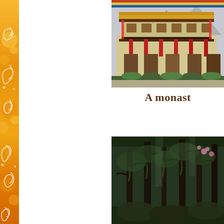[Figure (photo): Decorative orange sidebar with white swirl/floral patterns on the left edge of the page]
[Figure (photo): Photo of a Bhutanese or Tibetan monastery building with traditional architecture, colorful decorative elements, red pillars, wooden doors, and mountains in the background]
A monast
[Figure (photo): Photo of a dense forest scene with moss-covered trees, dark foliage, and some flowering plants visible]